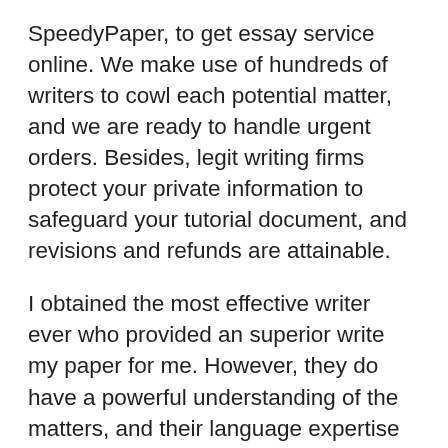SpeedyPaper, to get essay service online. We make use of hundreds of writers to cowl each potential matter, and we are ready to handle urgent orders. Besides, legit writing firms protect your private information to safeguard your tutorial document, and revisions and refunds are attainable.
I obtained the most effective writer ever who provided an superior write my paper for me. However, they do have a powerful understanding of the matters, and their language expertise are compensated with the standard content material they write. However, should you order some really essential paper